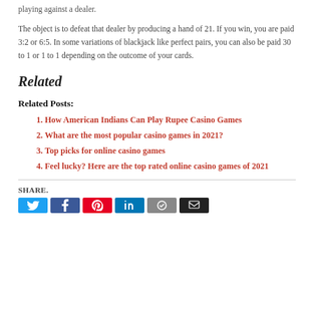playing against a dealer.
The object is to defeat that dealer by producing a hand of 21. If you win, you are paid 3:2 or 6:5. In some variations of blackjack like perfect pairs, you can also be paid 30 to 1 or 1 to 1 depending on the outcome of your cards.
Related
Related Posts:
How American Indians Can Play Rupee Casino Games
What are the most popular casino games in 2021?
Top picks for online casino games
Feel lucky? Here are the top rated online casino games of 2021
SHARE.